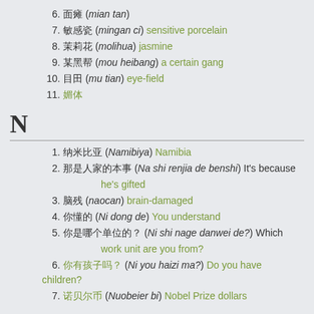6. 面瘫 (mian tan)
7. 敏感瓷 (mingan ci) sensitive porcelain
8. 茉莉花 (molihua) jasmine
9. 某黑帮 (mou heibang) a certain gang
10. 目田 (mu tian) eye-field
11. 媚体
N
1. 纳米比亚 (Namibiya) Namibia
2. 那是人家的本事 (Na shi renjia de benshi) It's because he's gifted
3. 脑残 (naocan) brain-damaged
4. 你懂的 (Ni dong de) You understand
5. 你是哪个单位的？（Ni shi nage danwei de?）Which work unit are you from?
6. 你有孩子吗？（Ni you haizi ma?）Do you have children?
7. 诺贝尔币 (Nuobeier bi) Nobel Prize dollars